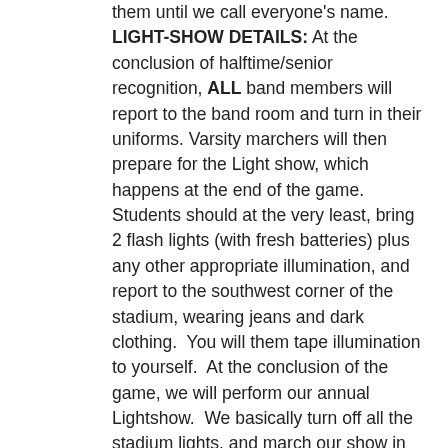them until we call everyone's name. LIGHT-SHOW DETAILS: At the conclusion of halftime/senior recognition, ALL band members will report to the band room and turn in their uniforms. Varsity marchers will then prepare for the Light show, which happens at the end of the game. Students should at the very least, bring 2 flash lights (with fresh batteries) plus any other appropriate illumination, and report to the southwest corner of the stadium, wearing jeans and dark clothing. You will them tape illumination to yourself. At the conclusion of the game, we will perform our annual Lightshow. We basically turn off all the stadium lights, and march our show in the dark, while individuals are illuminated. It's a lot of fun! Saturday, Oct. 16- SMN MARCHING INVITATIONAL! I will send out another email later this week with additional details. Having said that, all varsity marchers should begin getting their uniform around 5:30PM. Warmup begins at 6:15, and our